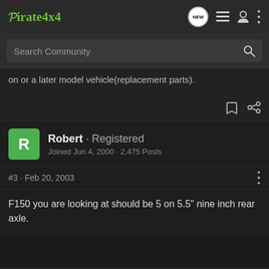Pirate4x4
Search Community
on or a later model vehicle(replacement parts).
Robert · Registered
Joined Jun 4, 2000 · 2,475 Posts
#3 · Feb 20, 2003
F150 you are looking at should be 5 on 5.5" nine inch rear axle.